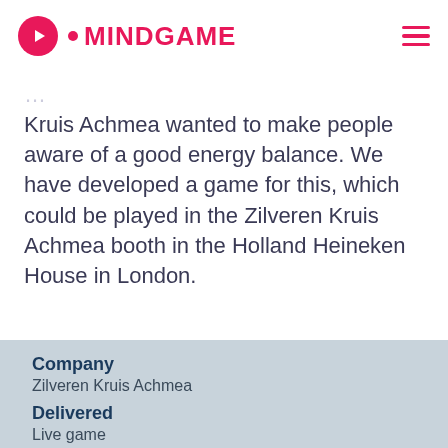MINDGAME
Kruis Achmea wanted to make people aware of a good energy balance. We have developed a game for this, which could be played in the Zilveren Kruis Achmea booth in the Holland Heineken House in London.
Company
Zilveren Kruis Achmea
Delivered
Live game
Project type